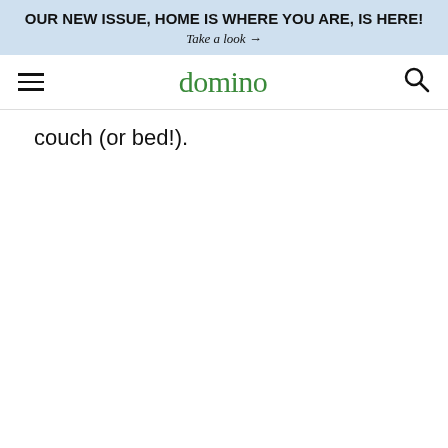OUR NEW ISSUE, HOME IS WHERE YOU ARE, IS HERE!
Take a look →
domino
couch (or bed!).